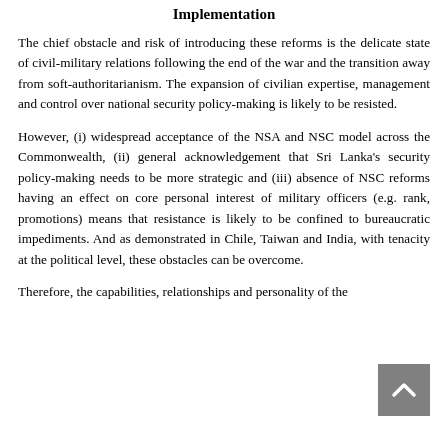Implementation
The chief obstacle and risk of introducing these reforms is the delicate state of civil-military relations following the end of the war and the transition away from soft-authoritarianism. The expansion of civilian expertise, management and control over national security policy-making is likely to be resisted.
However, (i) widespread acceptance of the NSA and NSC model across the Commonwealth, (ii) general acknowledgement that Sri Lanka's security policy-making needs to be more strategic and (iii) absence of NSC reforms having an effect on core personal interest of military officers (e.g. rank, promotions) means that resistance is likely to be confined to bureaucratic impediments. And as demonstrated in Chile, Taiwan and India, with tenacity at the political level, these obstacles can be overcome.
Therefore, the capabilities, relationships and personality of the